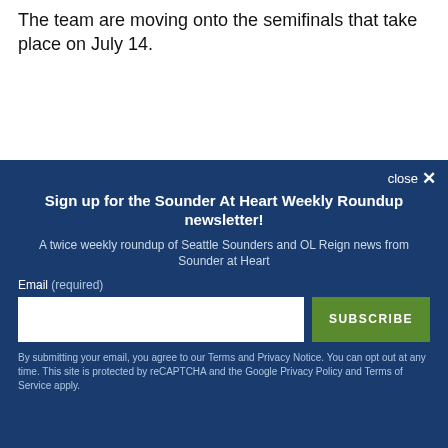The team are moving onto the semifinals that take place on July 14.
close ×
Sign up for the Sounder At Heart Weekly Roundup newsletter!
A twice weekly roundup of Seattle Sounders and OL Reign news from Sounder at Heart
Email (required)
SUBSCRIBE
By submitting your email, you agree to our Terms and Privacy Notice. You can opt out at any time. This site is protected by reCAPTCHA and the Google Privacy Policy and Terms of Service apply.